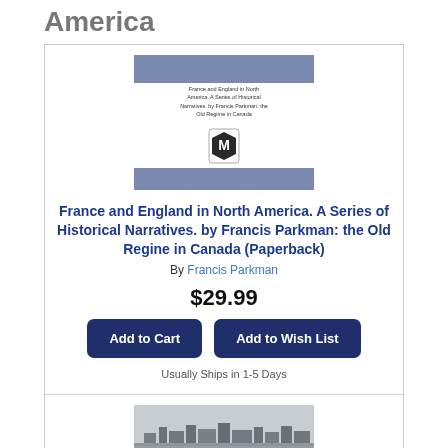America
[Figure (illustration): Book cover for France and England in North America: blue bar at top, small text block with title, publisher logo (M in a shield), blue bar at bottom]
France and England in North America. A Series of Historical Narratives. by Francis Parkman: the Old Regine in Canada (Paperback)
By Francis Parkman
$29.99
Add to Cart
Add to Wish List
Usually Ships in 1-5 Days
[Figure (photo): Black and white landscape/cityscape photograph]